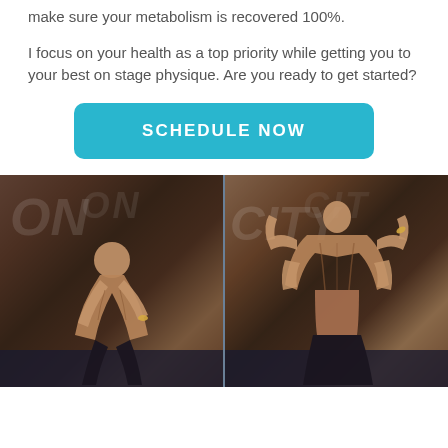make sure your metabolism is recovered 100%.
I focus on your health as a top priority while getting you to your best on stage physique. Are you ready to get started?
SCHEDULE NOW
[Figure (photo): Two bodybuilders on competition stage: left figure bending forward flexing in a front pose, right figure showing muscular back double bicep pose. Dark blue competition backdrop visible.]